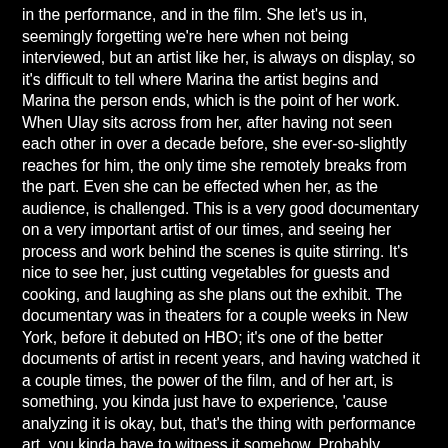in the performance, and in the film. She let's us in, seemingly forgetting we're here when not being interviewed, but an artist like her, is always on display, so it's difficult to tell where Marina the artist begins and Marina the person ends, which is the point of her work. When Ulay sits across from her, after having not seen each other in over a decade before, she ever-so-slightly reaches for him, the only time she remotely breaks from the part. Even she can be effected when her, as the audience, is challenged. This is a very good documentary on a very important artist of our times, and seeing her process and work behind the scenes is quite stirring. It's nice to see her, just cutting vegetables for guests and cooking, and laughing as she plans out the exhibit. The documentary was in theaters for a couple weeks in New York, before it debuted on HBO; it's one of the better documents of artist in recent years, and having watched it a couple times, the power of the film, and of her art, is something, you kinda just have to experience, 'cause analyzing it is okay, but, that's the thing with performance art, you kinda have to witness it somehow. Probably participate too in Marina's world.